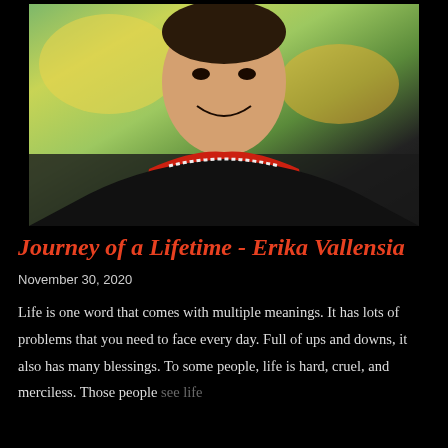[Figure (photo): Portrait photo of a young smiling person wearing a red and black traditional outfit, with a green outdoor background]
Journey of a Lifetime - Erika Vallensia
November 30, 2020
Life is one word that comes with multiple meanings. It has lots of problems that you need to face every day. Full of ups and downs, it also has many blessings. To some people, life is hard, cruel, and merciless. Those people see life